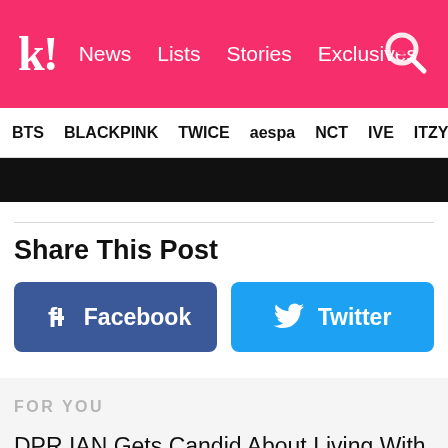k! News Lists Stories Exclusives
BTS BLACKPINK TWICE aespa NCT IVE ITZY
[Figure (screenshot): Dark banner image strip, partially visible at top]
Share This Post
[Figure (infographic): Facebook share button (blue) and Twitter share button (light blue)]
FOR YOU
DPR IAN Gets Candid About Living With Bipolar 1